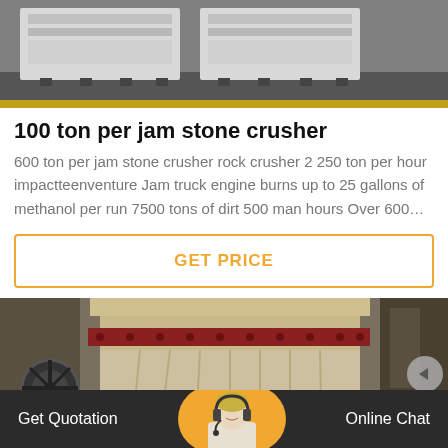[Figure (photo): Top portion showing industrial stone crusher machinery, white/grey equipment on dark floor]
100 ton per jam stone crusher
600 ton per jam stone crusher rock crusher 2 250 ton per hour impactteenventure Jam truck engine burns up to 25 gallons of methanol per run 7500 tons of dirt 500 man hours Over 600…
GET PRICE
[Figure (photo): Industrial cone crusher machinery, large cream/beige colored cone crusher with red ring, industrial setting]
Get Quotation   Online Chat